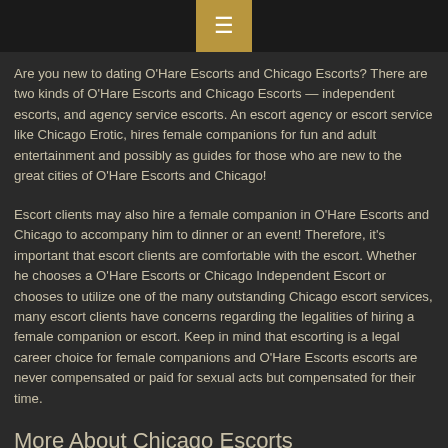Are you new to dating O'Hare Escorts and Chicago Escorts? There are two kinds of O'Hare Escorts and Chicago Escorts — independent escorts, and agency service escorts. An escort agency or escort service like Chicago Erotic, hires female companions for fun and adult entertainment and possibly as guides for those who are new to the great cities of O'Hare Escorts and Chicago!
Escort clients may also hire a female companion in O'Hare Escorts and Chicago to accompany him to dinner or an event! Therefore, it's important that escort clients are comfortable with the escort. Whether he chooses a O'Hare Escorts or Chicago Independent Escort or chooses to utilize one of the many outstanding Chicago escort services, many escort clients have concerns regarding the legalities of hiring a female companion or escort. Keep in mind that escorting is a legal career choice for female companions and O'Hare Escorts escorts are never compensated or paid for sexual acts but compensated for their time.
More About Chicago Escorts
Chicago female companions are cultural icons, luxurious, and can be hired to accompany adult clients for entertainment and social engagements.